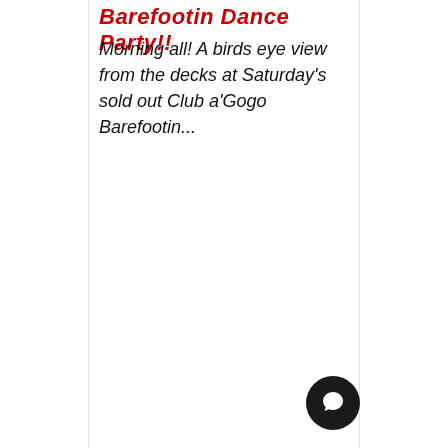Barefootin Dance Party!!
Morning all! A birds eye view from the decks at Saturday's sold out Club a'Gogo Barefootin...